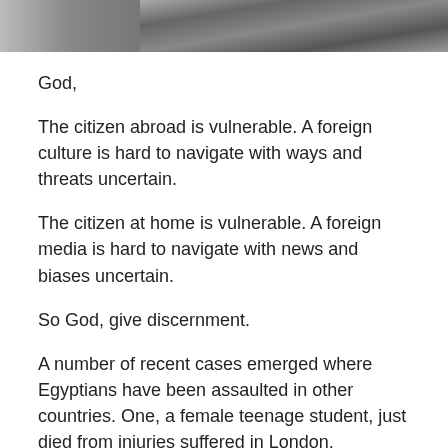[Figure (photo): Partial photo strip at top of page showing people, cropped]
God,
The citizen abroad is vulnerable. A foreign culture is hard to navigate with ways and threats uncertain.
The citizen at home is vulnerable. A foreign media is hard to navigate with news and biases uncertain.
So God, give discernment.
A number of recent cases emerged where Egyptians have been assaulted in other countries. One, a female teenage student, just died from injuries suffered in London.
Authorities are following up the incidents, by urging joint measures to monitor the legal process.